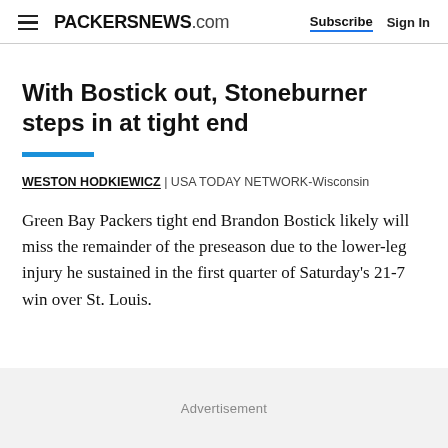PACKERSNEWS.com  Subscribe  Sign In
With Bostick out, Stoneburner steps in at tight end
WESTON HODKIEWICZ  | USA TODAY NETWORK-Wisconsin
Green Bay Packers tight end Brandon Bostick likely will miss the remainder of the preseason due to the lower-leg injury he sustained in the first quarter of Saturday's 21-7 win over St. Louis.
Advertisement